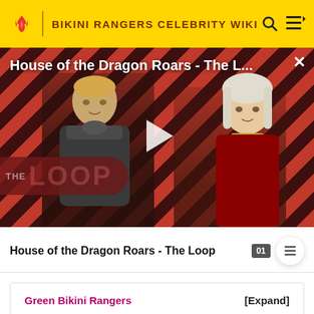BIKINI RANGERS CELEBRITY WIKI
[Figure (screenshot): Video thumbnail for 'House of the Dragon Roars - The L...' showing two characters from House of the Dragon against a diagonal red stripe background with THE LOOP watermark and a play button in the center. A close (X) button is in the top right.]
House of the Dragon Roars - The Loop
01
Green Bikini Rangers
[Expand]